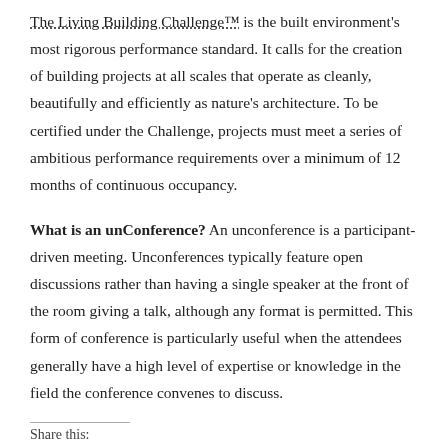The Living Building Challenge™ is the built environment's most rigorous performance standard. It calls for the creation of building projects at all scales that operate as cleanly, beautifully and efficiently as nature's architecture. To be certified under the Challenge, projects must meet a series of ambitious performance requirements over a minimum of 12 months of continuous occupancy.
What is an unConference? An unconference is a participant-driven meeting. Unconferences typically feature open discussions rather than having a single speaker at the front of the room giving a talk, although any format is permitted. This form of conference is particularly useful when the attendees generally have a high level of expertise or knowledge in the field the conference convenes to discuss.
Share this: